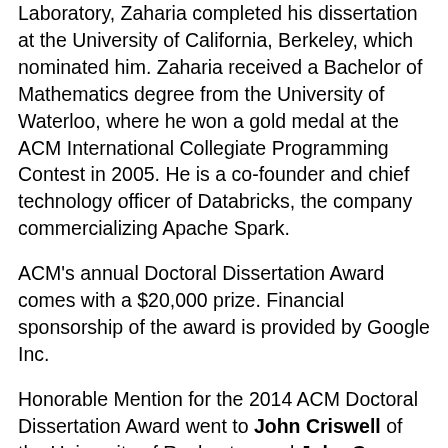Laboratory, Zaharia completed his dissertation at the University of California, Berkeley, which nominated him. Zaharia received a Bachelor of Mathematics degree from the University of Waterloo, where he won a gold medal at the ACM International Collegiate Programming Contest in 2005. He is a co-founder and chief technology officer of Databricks, the company commercializing Apache Spark.
ACM's annual Doctoral Dissertation Award comes with a $20,000 prize. Financial sponsorship of the award is provided by Google Inc.
Honorable Mention for the 2014 ACM Doctoral Dissertation Award went to John Criswell of the University of Rochester, and John C. Duchi of Stanford University, who share a $10,000 prize, with financial sponsorship provided by Google Inc.
Criswell's dissertation, "Secure Virtual Architecture: Security for Commodity Software Systems" (http://bit.ly/1IjTPxn), describes a compiler-based infrastructure designed to address the challenges of